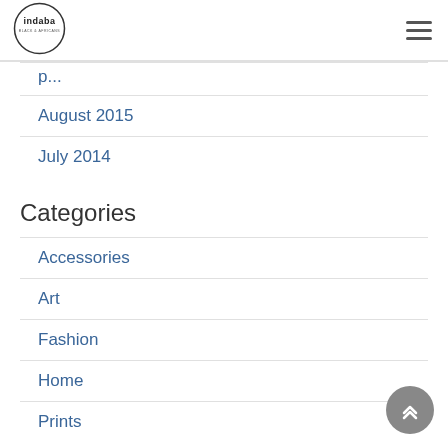[Figure (logo): Indaba brand circular logo with text inside]
August 2015
July 2014
Categories
Accessories
Art
Fashion
Home
Prints